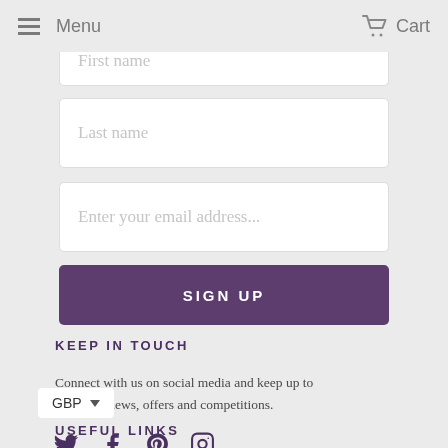Menu | Cart
First name (placeholder, partially visible)
Last name
Enter your email address...
SIGN UP
KEEP IN TOUCH
Connect with us on social media and keep up to date with news, offers and competitions.
[Figure (infographic): Social media icons: Twitter, Facebook, Pinterest, Instagram]
GBP
USEFUL LINKS